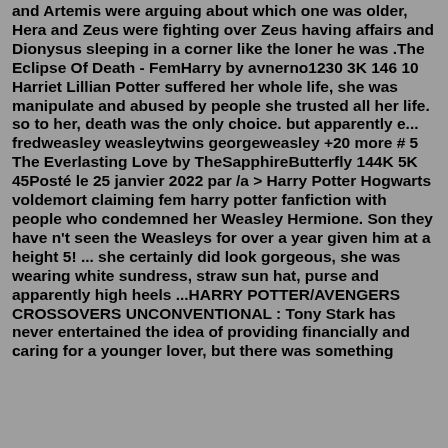and Artemis were arguing about which one was older, Hera and Zeus were fighting over Zeus having affairs and Dionysus sleeping in a corner like the loner he was .The Eclipse Of Death - FemHarry by avnerno1230 3K 146 10 Harriet Lillian Potter suffered her whole life, she was manipulate and abused by people she trusted all her life. so to her, death was the only choice. but apparently e... fredweasley weasleytwins georgeweasley +20 more # 5 The Everlasting Love by TheSapphireButterfly 144K 5K 45Posté le 25 janvier 2022 par /a > Harry Potter Hogwarts voldemort claiming fem harry potter fanfiction with people who condemned her Weasley Hermione. Son they have n't seen the Weasleys for over a year given him at a height 5! ... she certainly did look gorgeous, she was wearing white sundress, straw sun hat, purse and apparently high heels ...HARRY POTTER/AVENGERS CROSSOVERS UNCONVENTIONAL : Tony Stark has never entertained the idea of providing financially and caring for a younger lover, but there was something